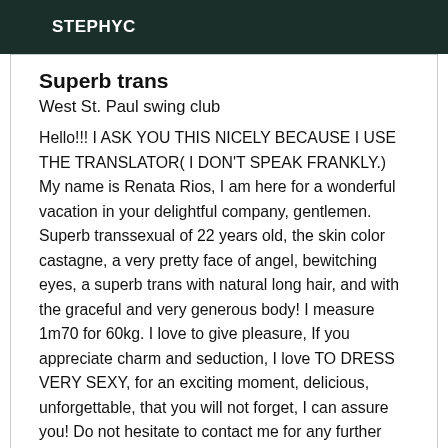STEPHYC
Superb trans
West St. Paul swing club
Hello!!! I ASK YOU THIS NICELY BECAUSE I USE THE TRANSLATOR( I DON'T SPEAK FRANKLY.) My name is Renata Rios, I am here for a wonderful vacation in your delightful company, gentlemen. Superb transsexual of 22 years old, the skin color castagne, a very pretty face of angel, bewitching eyes, a superb trans with natural long hair, and with the graceful and very generous body! I measure 1m70 for 60kg. I love to give pleasure, If you appreciate charm and seduction, I love TO DRESS VERY SEXY, for an exciting moment, delicious, unforgettable, that you will not forget, I can assure you! Do not hesitate to contact me for any further information. No bad surprises with me, so be careful, I do not answer to SMS and number cache steps, thank you to do the same and call. My profile and photos are 1000% real. I